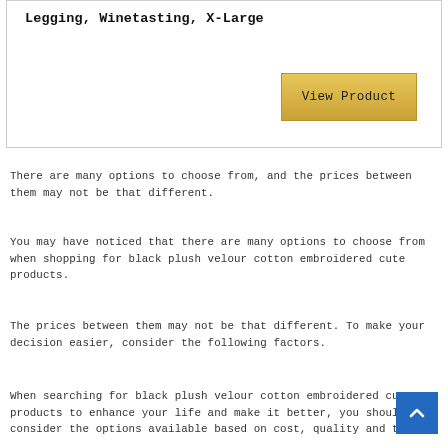Legging, Winetasting, X-Large
View Product
There are many options to choose from, and the prices between them may not be that different.
You may have noticed that there are many options to choose from when shopping for black plush velour cotton embroidered cute products.
The prices between them may not be that different. To make your decision easier, consider the following factors.
When searching for black plush velour cotton embroidered cute products to enhance your life and make it better, you should consider the options available based on cost, quality and the